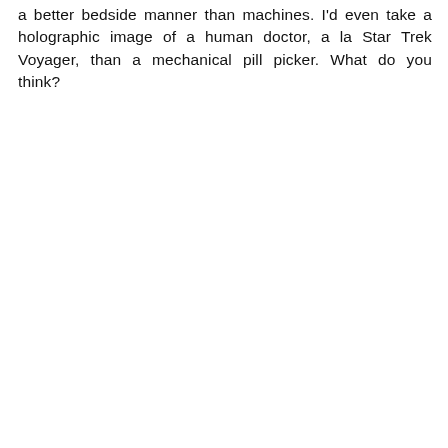a better bedside manner than machines. I'd even take a holographic image of a human doctor, a la Star Trek Voyager, than a mechanical pill picker. What do you think?